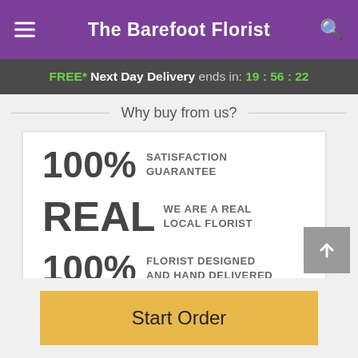The Barefoot Florist
FREE* Next Day Delivery ends in: 19:56:22
Why buy from us?
100% SATISFACTION GUARANTEE
REAL WE ARE A REAL LOCAL FLORIST
100% FLORIST DESIGNED AND HAND DELIVERED
Start Order